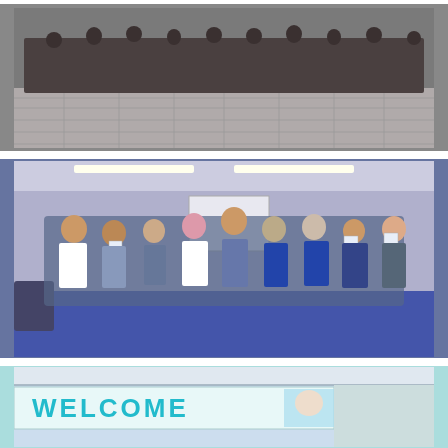[Figure (photo): Black and white photograph of a large group of people posing together outdoors on a tiled plaza floor. People are arranged in rows, some crouching in front.]
[Figure (photo): Color photograph of approximately 18 people standing in a room with blue carpet and fluorescent lighting, many holding up certificates or documents. A projection screen is visible in the background.]
[Figure (photo): Color photograph showing a banner that reads WELCOME with what appears to be a person or mascot image, taken indoors at what looks like a facility or store entrance.]